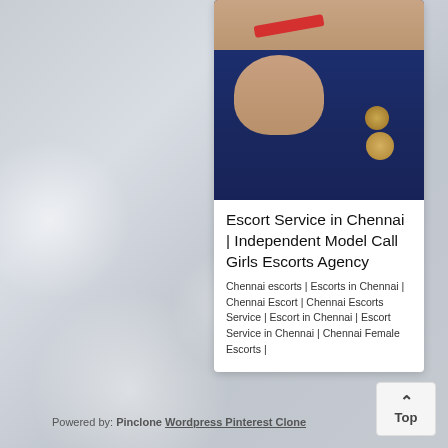[Figure (photo): Photo of a woman in a dark blue saree with red blouse inside a card]
Escort Service in Chennai | Independent Model Call Girls Escorts Agency
Chennai escorts | Escorts in Chennai | Chennai Escort | Chennai Escorts Service | Escort in Chennai | Escort Service in Chennai | Chennai Female Escorts |
Powered by: Pinclone Wordpress Pinterest Clone
Top